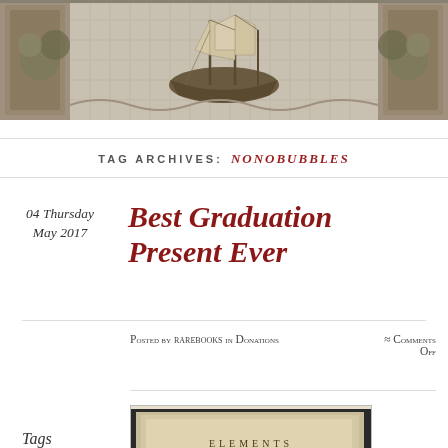[Figure (illustration): Decorative header banner with an engraving of a sailing ship amid waves and ornamental architectural elements with foliage]
TAG ARCHIVES: NONOBUBBLES
04 Thursday May 2017
Best Graduation Present Ever
Posted by rarebooks in Donations ≈ Comments Off
[Figure (photo): Photograph of an old book open to a title page reading ELEMENTS]
Tags